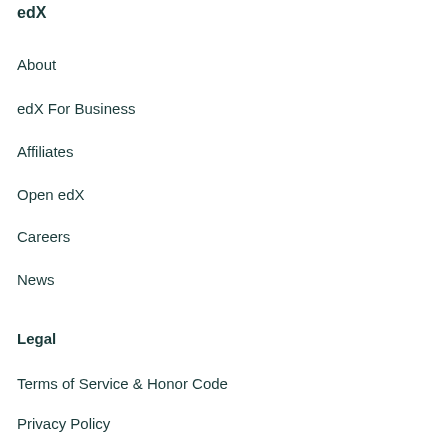edX
Connect
About
Blog
edX For Business
Contact Us
Affiliates
Help Center
Open edX
Media Kit
Careers
News
Legal
Terms of Service & Honor Code
Privacy Policy
Accessibility Policy